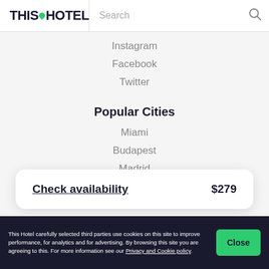[Figure (logo): THIS HOTEL logo with green location pin dot]
Instagram
Facebook
Twitter
Popular Cities
Miami
Budapest
Madrid
New York
Boston
Amsterdam
Barcelona
Check availability   $279
This Hotel carefully selected third parties use cookies on this site to improve performance, for analytics and for advertising. By browsing this site you are agreeing to this. For more information see our Privacy and Cookie policy.